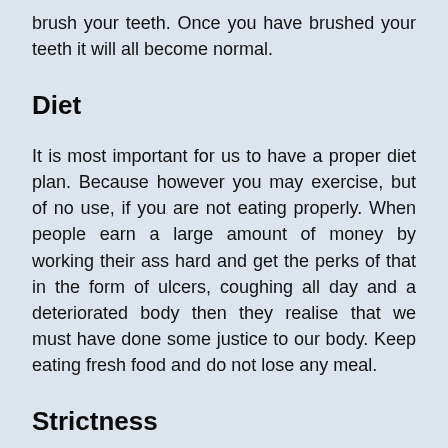brush your teeth. Once you have brushed your teeth it will all become normal.
Diet
It is most important for us to have a proper diet plan. Because however you may exercise, but of no use, if you are not eating properly. When people earn a large amount of money by working their ass hard and get the perks of that in the form of ulcers, coughing all day and a deteriorated body then they realise that we must have done some justice to our body. Keep eating fresh food and do not lose any meal.
Strictness
To whatever routine you made... you made it because you had some dream to achieve or a target